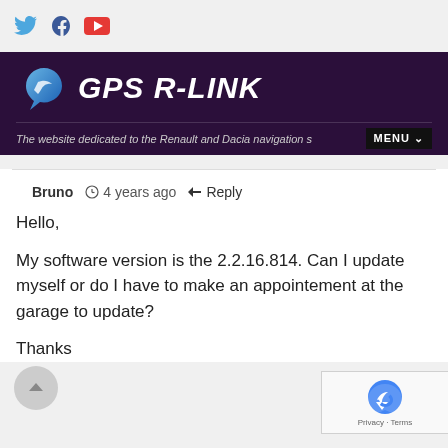[Figure (logo): GPS R-LINK website header with logo, tagline, and menu button]
Bruno  4 years ago  Reply
Hello,

My software version is the 2.2.16.814. Can I update myself or do I have to make an appointement at the garage to update?

Thanks